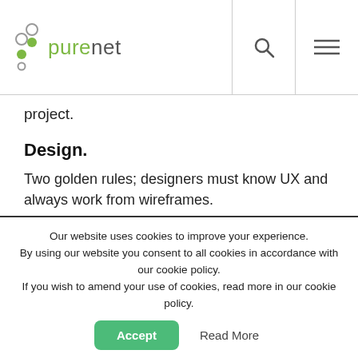purenet
project.
Design.
Two golden rules; designers must know UX and always work from wireframes.
Yes, you may have heard wireframes are dead but we firmly believe that designers need to focus on creatively art working a seamless user journey both
Our website uses cookies to improve your experience. By using our website you consent to all cookies in accordance with our cookie policy. If you wish to amend your use of cookies, read more in our cookie policy.